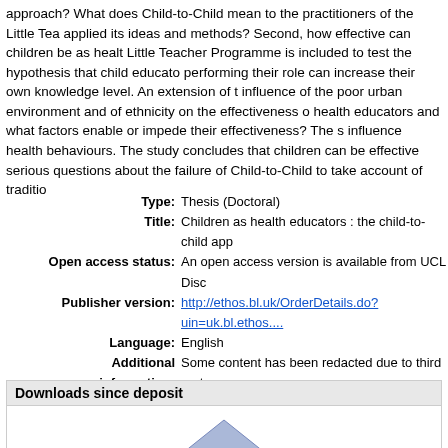approach? What does Child-to-Child mean to the practitioners of the Little Teacher Programme who have applied its ideas and methods? Second, how effective can children be as health educators? An analysis of the Little Teacher Programme is included to test the hypothesis that child educators, in preparing for and performing their role can increase their own knowledge level. An extension of the study examines the influence of the poor urban environment and of ethnicity on the effectiveness of children as peer health educators and what factors enable or impede their effectiveness? The study examines children's ability to influence health behaviours. The study concludes that children can be effective health educators but raises serious questions about the failure of Child-to-Child to take account of tradition...
| Field | Value |
| --- | --- |
| Type: | Thesis (Doctoral) |
| Title: | Children as health educators : the child-to-child app... |
| Open access status: | An open access version is available from UCL Disc... |
| Publisher version: | http://ethos.bl.uk/OrderDetails.do?uin=uk.bl.ethos.... |
| Language: | English |
| Additional information: | Some content has been redacted due to third party document. |
| Keywords: | Disruptive behaviour,Pupil attitudes,Secondary edu... |
| UCL classification: | UCL > Provost and Vice Provost Offices > School o... |
| URI: | https://discovery.ucl.ac.uk/id/eprint/10019135 |
Downloads since deposit
[Figure (area-chart): Downloads since deposit chart showing a triangle/peak shape]